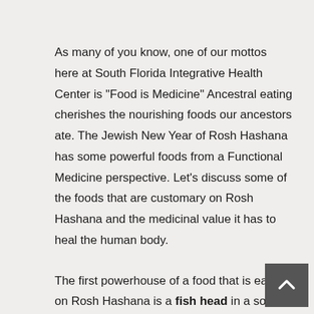As many of you know, one of our mottos here at South Florida Integrative Health Center is “Food is Medicine” Ancestral eating cherishes the nourishing foods our ancestors ate. The Jewish New Year of Rosh Hashana has some powerful foods from a Functional Medicine perspective. Let’s discuss some of the foods that are customary on Rosh Hashana and the medicinal value it has to heal the human body.
The first powerhouse of a food that is eaten on Rosh Hashana is a fish head in a soup. The fish head symbolizes the head of the year, but it also has deeper meaning that just as fish have their eyes always open, so should we be always mindful of the